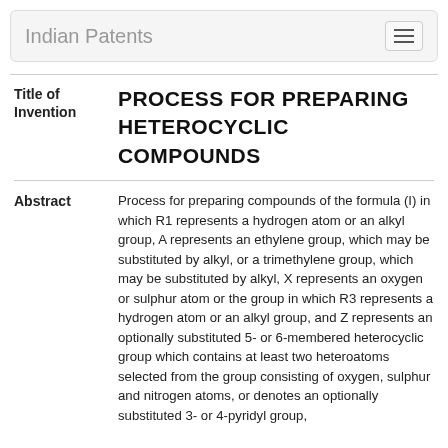Indian Patents
PROCESS FOR PREPARING HETEROCYCLIC COMPOUNDS
Process for preparing compounds of the formula (I) in which R1 represents a hydrogen atom or an alkyl group, A represents an ethylene group, which may be substituted by alkyl, or a trimethylene group, which may be substituted by alkyl, X represents an oxygen or sulphur atom or the group in which R3 represents a hydrogen atom or an alkyl group, and Z represents an optionally substituted 5- or 6-membered heterocyclic group which contains at least two heteroatoms selected from the group consisting of oxygen, sulphur and nitrogen atoms, or denotes an optionally substituted 3- or 4-pyridyl group,